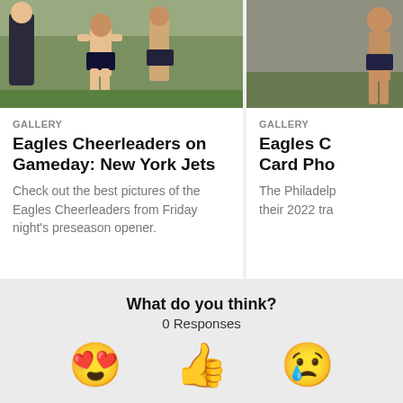[Figure (photo): Eagles Cheerleaders photo - left card image showing cheerleaders on field]
GALLERY
Eagles Cheerleaders on Gameday: New York Jets
Check out the best pictures of the Eagles Cheerleaders from Friday night's preseason opener.
[Figure (photo): Eagles Cheerleaders photo - right card image (partially visible)]
GALLERY
Eagles C… Card Pho…
The Philadelp… their 2022 tra…
What do you think?
0 Responses